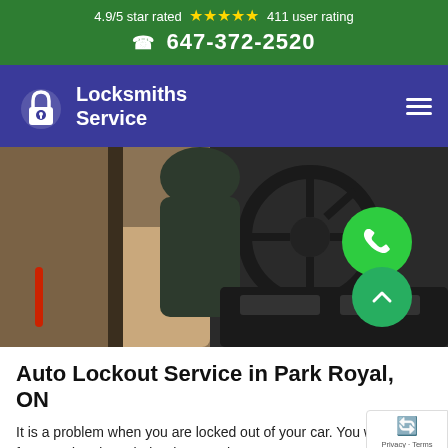4.9/5 star rated ★★★★★ 411 user rating
647-372-2520
[Figure (logo): Locksmiths Service logo with padlock icon on dark blue navigation bar]
[Figure (photo): Car interior showing steering wheel and door being opened, with green phone call button and green scroll-to-top button overlaid]
Auto Lockout Service in Park Royal, ON
It is a problem when you are locked out of your car. You will get frustrated and worried. When you have an